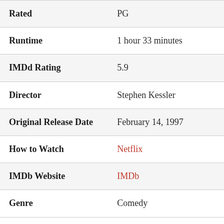| Field | Value |
| --- | --- |
| Rated | PG |
| Runtime | 1 hour 33 minutes |
| IMDd Rating | 5.9 |
| Director | Stephen Kessler |
| Original Release Date | February 14, 1997 |
| How to Watch | Netflix |
| IMDb Website | IMDb |
| Genre | Comedy |